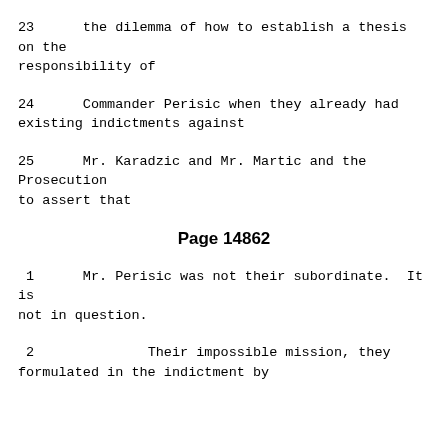23      the dilemma of how to establish a thesis on the responsibility of
24      Commander Perisic when they already had existing indictments against
25      Mr. Karadzic and Mr. Martic and the Prosecution to assert that
Page 14862
1      Mr. Perisic was not their subordinate.  It is not in question.
2              Their impossible mission, they formulated in the indictment by